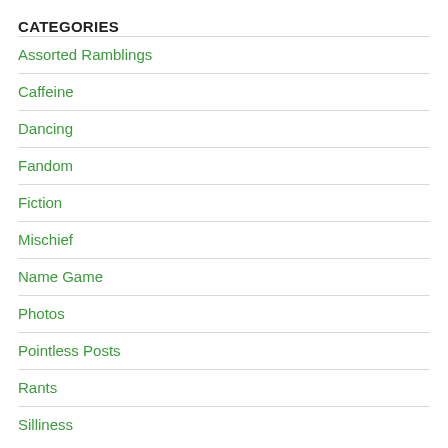CATEGORIES
Assorted Ramblings
Caffeine
Dancing
Fandom
Fiction
Mischief
Name Game
Photos
Pointless Posts
Rants
Silliness